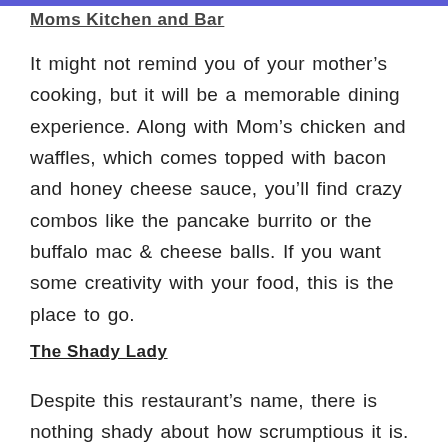Moms Kitchen and Bar
It might not remind you of your mother’s cooking, but it will be a memorable dining experience. Along with Mom’s chicken and waffles, which comes topped with bacon and honey cheese sauce, you’ll find crazy combos like the pancake burrito or the buffalo mac & cheese balls. If you want some creativity with your food, this is the place to go.
The Shady Lady
Despite this restaurant’s name, there is nothing shady about how scrumptious it is. This is the